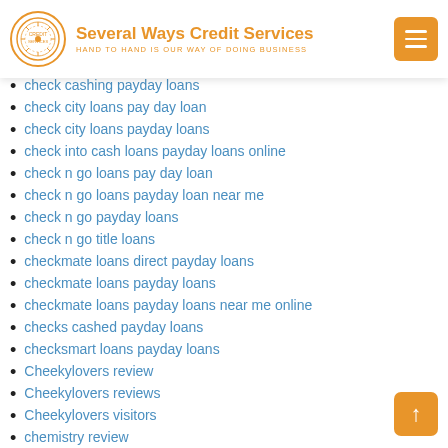Several Ways Credit Services — HAND TO HAND IS OUR WAY OF DOING BUSINESS
check cashing payday loans
check city loans pay day loan
check city loans payday loans
check into cash loans payday loans online
check n go loans pay day loan
check n go loans payday loan near me
check n go payday loans
check n go title loans
checkmate loans direct payday loans
checkmate loans payday loans
checkmate loans payday loans near me online
checks cashed payday loans
checksmart loans payday loans
Cheekylovers review
Cheekylovers reviews
Cheekylovers visitors
chemistry review
chemistry was kostet
Cherry Casino